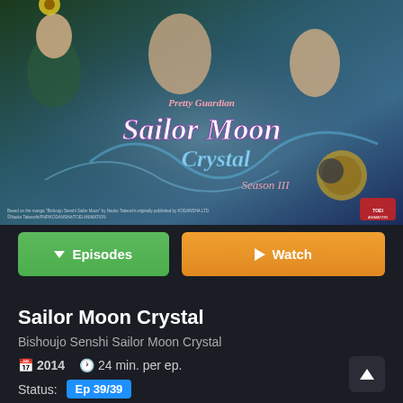[Figure (illustration): Cover art for Pretty Guardian Sailor Moon Crystal Season III showing anime characters in sailor uniforms with the series logo]
Episodes
Watch
Sailor Moon Crystal
Bishoujo Senshi Sailor Moon Crystal
2014  24 min. per ep.
Status:  Ep 39/39